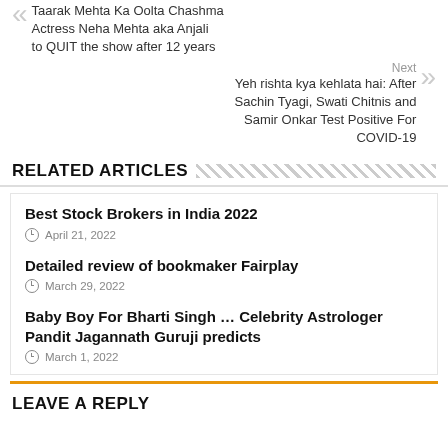Taarak Mehta Ka Oolta Chashma Actress Neha Mehta aka Anjali to QUIT the show after 12 years
Next
Yeh rishta kya kehlata hai: After Sachin Tyagi, Swati Chitnis and Samir Onkar Test Positive For COVID-19
RELATED ARTICLES
Best Stock Brokers in India 2022
April 21, 2022
Detailed review of bookmaker Fairplay
March 29, 2022
Baby Boy For Bharti Singh … Celebrity Astrologer Pandit Jagannath Guruji predicts
March 1, 2022
LEAVE A REPLY